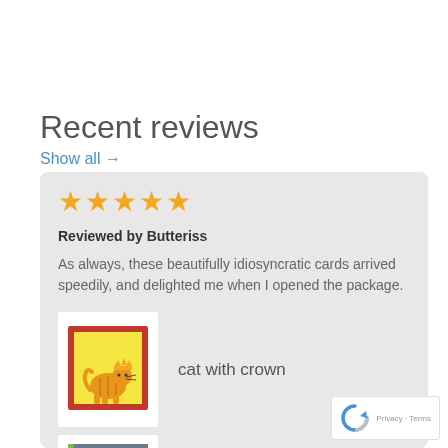Recent reviews
Show all →
[Figure (other): Five gold star rating]
Reviewed by Butteriss
As always, these beautifully idiosyncratic cards arrived speedily, and delighted me when I opened the package.
[Figure (illustration): Card showing an orange cat with a crown on a yellow background with red border]
cat with crown
[Figure (illustration): Card showing a sheep on a grey/green background with white border]
Sheep